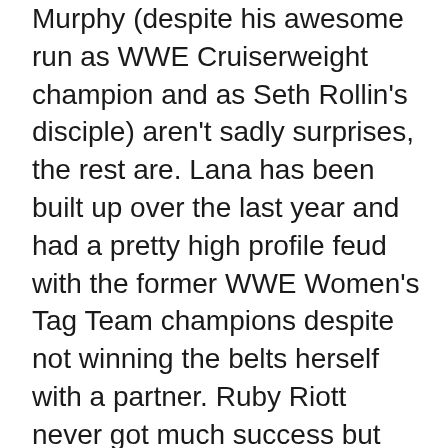Murphy (despite his awesome run as WWE Cruiserweight champion and as Seth Rollin's disciple) aren't sadly surprises, the rest are. Lana has been built up over the last year and had a pretty high profile feud with the former WWE Women's Tag Team champions despite not winning the belts herself with a partner. Ruby Riott never got much success but seemed to be a steady and reliable member of the dwindling women's tag team division on Raw and Smackdown. Aleister Black just finally returned from exile to start a feud with Big E literally a week earlier - if he had been released a month ago it would have been far less surprising. And Braun Strowman was in the semi